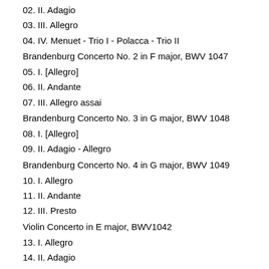02. II. Adagio
03. III. Allegro
04. IV. Menuet - Trio I - Polacca - Trio II
Brandenburg Concerto No. 2 in F major, BWV 1047
05. I. [Allegro]
06. II. Andante
07. III. Allegro assai
Brandenburg Concerto No. 3 in G major, BWV 1048
08. I. [Allegro]
09. II. Adagio - Allegro
Brandenburg Concerto No. 4 in G major, BWV 1049
10. I. Allegro
11. II. Andante
12. III. Presto
Violin Concerto in E major, BWV1042
13. I. Allegro
14. II. Adagio
15. III. Allegro assai
CD2:
Brandenburg Concerto No. 5 in D major, BWV 1050